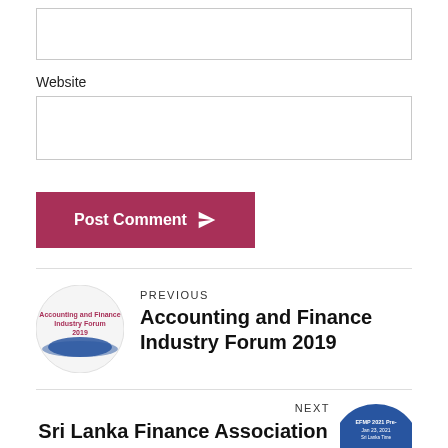[input box]
Website
[website input box]
Post Comment
PREVIOUS
Accounting and Finance Industry Forum 2019
NEXT
Sri Lanka Finance Association EFMP 2021 Pre-Conference - Webinar